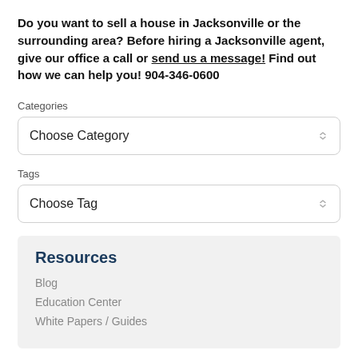Do you want to sell a house in Jacksonville or the surrounding area? Before hiring a Jacksonville agent, give our office a call or send us a message! Find out how we can help you! 904-346-0600
Categories
Choose Category
Tags
Choose Tag
Resources
Blog
Education Center
White Papers / Guides